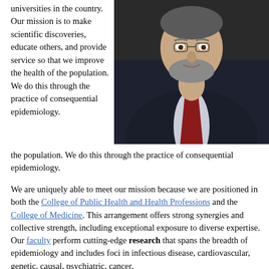universities in the country. Our mission is to make scientific discoveries, educate others, and provide service so that we improve the health of the population. We do this through the practice of consequential epidemiology.
[Figure (photo): Portrait photo of a middle-aged man with grey beard wearing a dark suit and red tie, against a dark background.]
We are uniquely able to meet our mission because we are positioned in both the College of Public Health and Health Professions and the College of Medicine. This arrangement offers strong synergies and collective strength, including exceptional exposure to diverse expertise.
Our faculty perform cutting-edge research that spans the breadth of epidemiology and includes foci in infectious disease, cardiovascular, genetic, causal, psychiatric, cancer,